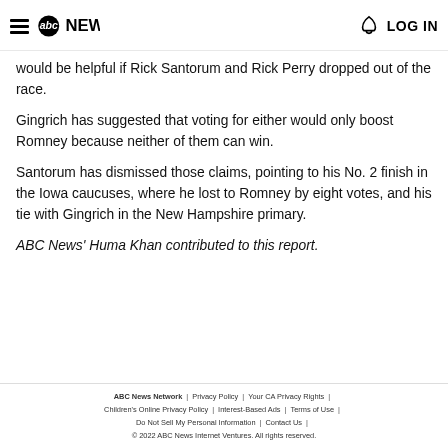abc NEWS | LOG IN
would be helpful if Rick Santorum and Rick Perry dropped out of the race.
Gingrich has suggested that voting for either would only boost Romney because neither of them can win.
Santorum has dismissed those claims, pointing to his No. 2 finish in the Iowa caucuses, where he lost to Romney by eight votes, and his tie with Gingrich in the New Hampshire primary.
ABC News' Huma Khan contributed to this report.
ABC News Network | Privacy Policy | Your CA Privacy Rights | Children's Online Privacy Policy | Interest-Based Ads | Terms of Use | Do Not Sell My Personal Information | Contact Us | © 2022 ABC News Internet Ventures. All rights reserved.